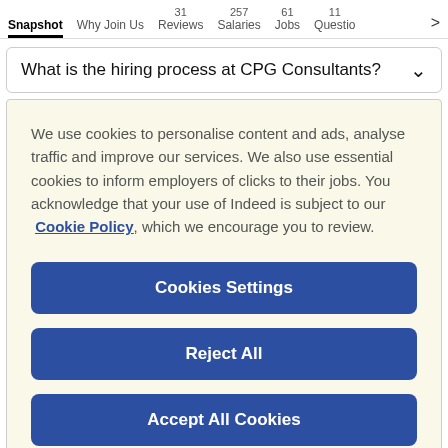Snapshot  Why Join Us  31 Reviews  257 Salaries  61 Jobs  11 Questio >
What is the hiring process at CPG Consultants? ∨
We use cookies to personalise content and ads, analyse traffic and improve our services. We also use essential cookies to inform employers of clicks to their jobs. You acknowledge that your use of Indeed is subject to our Cookie Policy, which we encourage you to review.
Cookies Settings
Reject All
Accept All Cookies